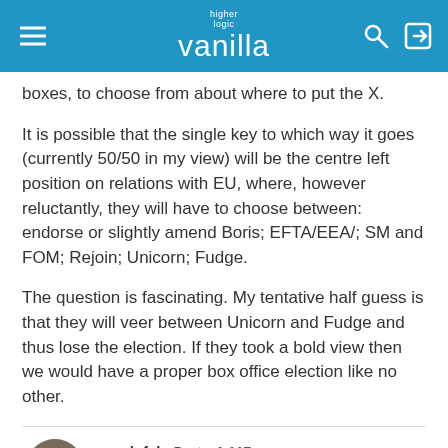higher logic vanilla
boxes, to choose from about where to put the X.
It is possible that the single key to which way it goes (currently 50/50 in my view) will be the centre left position on relations with EU, where, however reluctantly, they will have to choose between: endorse or slightly amend Boris; EFTA/EEA/; SM and FOM; Rejoin; Unicorn; Fudge.
The question is fascinating. My tentative half guess is that they will veer between Unicorn and Fudge and thus lose the election. If they took a bold view then we would have a proper box office election like no other.
spudgfsh   Posts: 1,117
July 2021